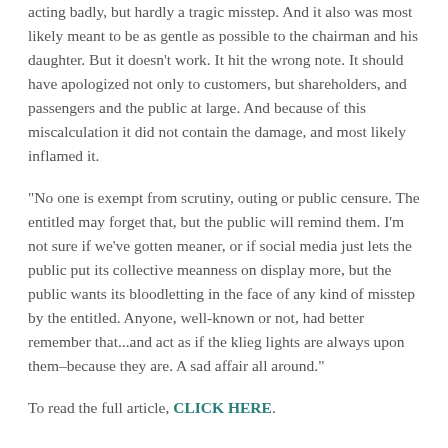acting badly, but hardly a tragic misstep. And it also was most likely meant to be as gentle as possible to the chairman and his daughter. But it doesn't work. It hit the wrong note. It should have apologized not only to customers, but shareholders, and passengers and the public at large. And because of this miscalculation it did not contain the damage, and most likely inflamed it.
"No one is exempt from scrutiny, outing or public censure. The entitled may forget that, but the public will remind them. I'm not sure if we've gotten meaner, or if social media just lets the public put its collective meanness on display more, but the public wants its bloodletting in the face of any kind of misstep by the entitled. Anyone, well-known or not, had better remember that...and act as if the klieg lights are always upon them–because they are. A sad affair all around."
To read the full article, CLICK HERE.